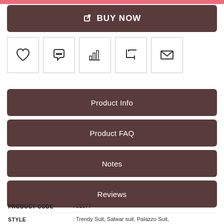[Figure (screenshot): Pink top navigation bar]
BUY NOW button
[Figure (other): Row of 5 icon buttons: heart (wishlist), chat bubble, bar chart, crop, envelope]
Product Info
Product FAQ
Notes
Reviews
PRODUCT CODE  : 31677
STYLE  : Trendy Suit, Salwar suit, Palazzo Suit,